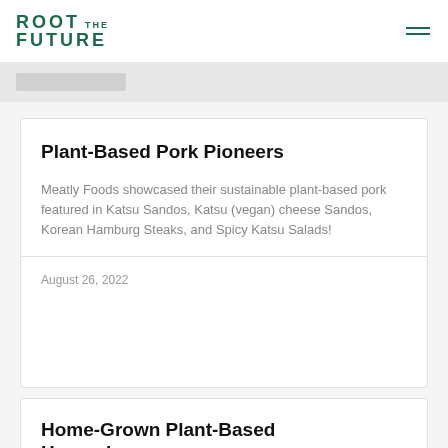ROOT THE FUTURE
Plant-Based Pork Pioneers
Meatly Foods showcased their sustainable plant-based pork featured in Katsu Sandos, Katsu (vegan) cheese Sandos, Korean Hamburg Steaks, and Spicy Katsu Salads!
August 26, 2022
Home-Grown Plant-Based Heroes!